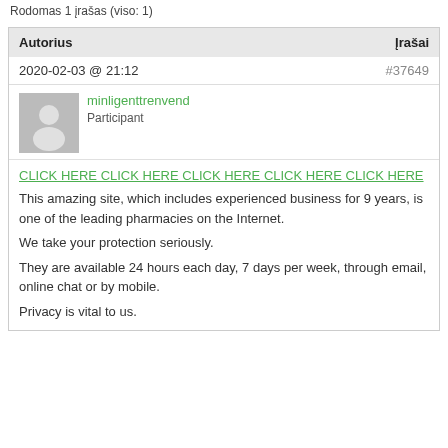Rodomas 1 įrašas (viso: 1)
| Autorius | Įrašai |
| --- | --- |
| 2020-02-03 @ 21:12 | #37649 |
| minligenttrenvend
Participant |  |
| CLICK HERE CLICK HERE CLICK HERE CLICK HERE CLICK HERE
This amazing site, which includes experienced business for 9 years, is one of the leading pharmacies on the Internet.
We take your protection seriously.
They are available 24 hours each day, 7 days per week, through email, online chat or by mobile.
Privacy is vital to us. |  |